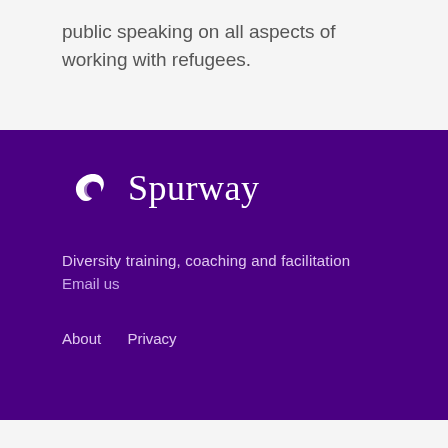public speaking on all aspects of working with refugees.
[Figure (logo): Spurway logo: white bird/flame icon followed by the word 'Spurway' in white serif font on purple background]
Diversity training, coaching and facilitation
Email us
About   Privacy